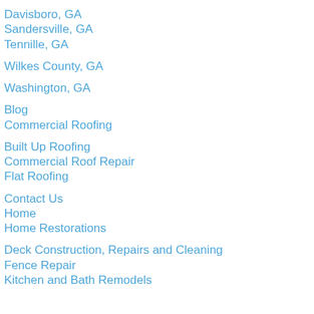Davisboro, GA
Sandersville, GA
Tennille, GA
Wilkes County, GA
Washington, GA
Blog
Commercial Roofing
Built Up Roofing
Commercial Roof Repair
Flat Roofing
Contact Us
Home
Home Restorations
Deck Construction, Repairs and Cleaning
Fence Repair
Kitchen and Bath Remodels